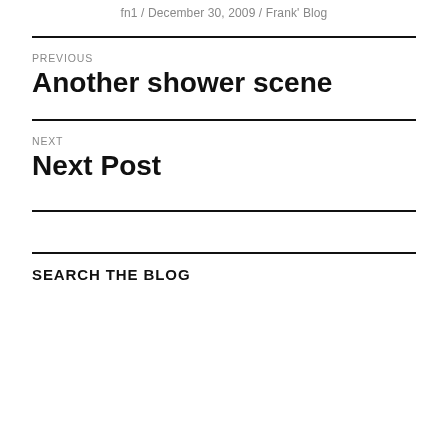fn1 / December 30, 2009 / Frank' Blog
PREVIOUS
Another shower scene
NEXT
Next Post
SEARCH THE BLOG